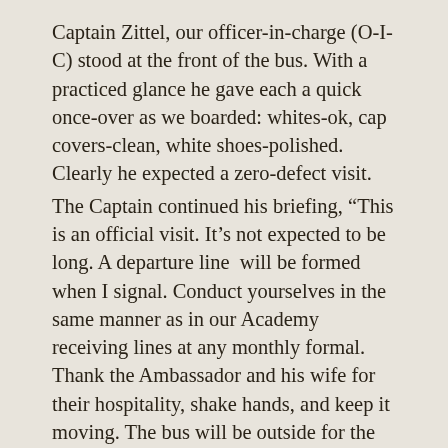Captain Zittel, our officer-in-charge (O-I-C) stood at the front of the bus. With a practiced glance he gave each a quick once-over as we boarded: whites-ok, cap covers-clean, white shoes-polished. Clearly he expected a zero-defect visit.
The Captain continued his briefing, “This is an official visit. It’s not expected to be long. A departure line  will be formed when I signal. Conduct yourselves in the same manner as in our Academy receiving lines at any monthly formal. Thank the Ambassador and his wife for their hospitality, shake hands, and keep it moving. The bus will be outside for the return to the ships.” Then he paused for effect.